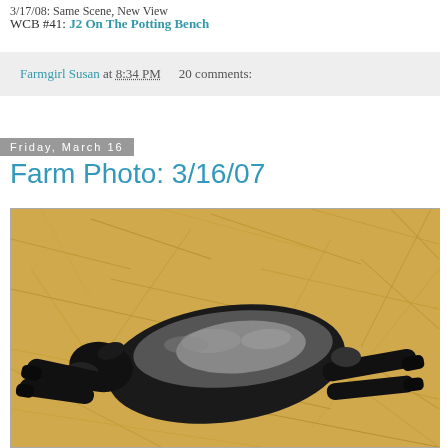3/17/08: Same Scene, New View
WCB #41: J2 On The Potting Bench
Farmgirl Susan at 8:34 PM   20 comments:
Friday, March 16
Farm Photo: 3/16/07
[Figure (photo): A black and grey lamb lying on its side on dry straw/hay, legs outstretched, viewed from above at a slight angle. The lamb appears to be resting or newborn.]